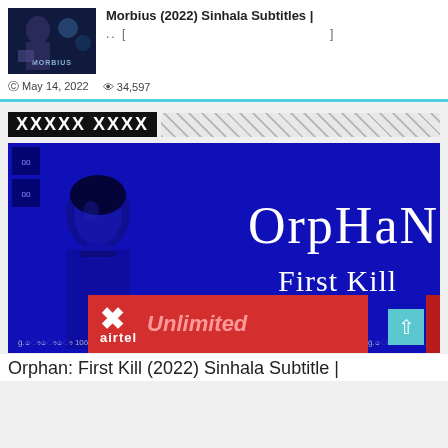[Figure (screenshot): Thumbnail image of Morbius movie poster with dark blue and purple tones]
Morbius (2022) Sinhala Subtitles |
.. [                              ]
May 14, 2022   34,597
XXXXX XXXX
[Figure (photo): Orphan: First Kill (2022) movie promotional image showing a girl with blue tint and the movie title text. An Airtel advertisement banner overlays the bottom portion.]
Orphan: First Kill (2022) Sinhala Subtitle |